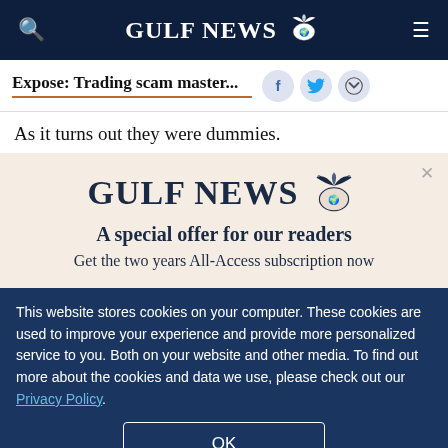GULF NEWS
Expose: Trading scam master...
As it turns out they were dummies.
[Figure (logo): Gulf News logo with eagle emblem and text 'GULF NEWS']
A special offer for our readers
Get the two years All-Access subscription now
This website stores cookies on your computer. These cookies are used to improve your experience and provide more personalized service to you. Both on your website and other media. To find out more about the cookies and data we use, please check out our Privacy Policy.
OK